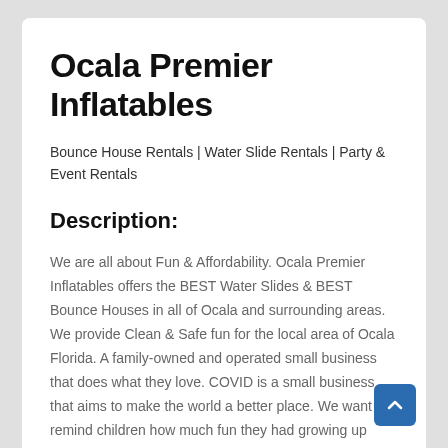Ocala Premier Inflatables
Bounce House Rentals | Water Slide Rentals | Party & Event Rentals
Description:
We are all about Fun & Affordability. Ocala Premier Inflatables offers the BEST Water Slides & BEST Bounce Houses in all of Ocala and surrounding areas. We provide Clean & Safe fun for the local area of Ocala Florida. A family-owned and operated small business that does what they love. COVID is a small business that aims to make the world a better place. We want to remind children how much fun they had growing up